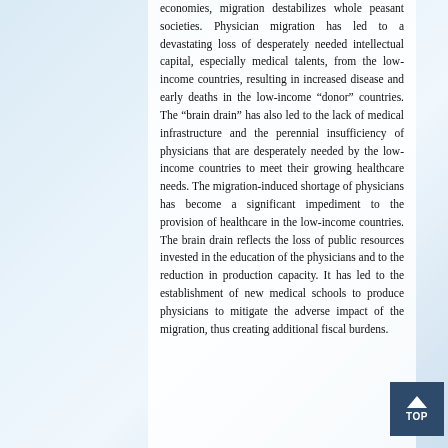economies, migration destabilizes whole peasant societies. Physician migration has led to a devastating loss of desperately needed intellectual capital, especially medical talents, from the low-income countries, resulting in increased disease and early deaths in the low-income “donor” countries. The “brain drain” has also led to the lack of medical infrastructure and the perennial insufficiency of physicians that are desperately needed by the low-income countries to meet their growing healthcare needs. The migration-induced shortage of physicians has become a significant impediment to the provision of healthcare in the low-income countries. The brain drain reflects the loss of public resources invested in the education of the physicians and to the reduction in production capacity. It has led to the establishment of new medical schools to produce physicians to mitigate the adverse impact of the migration, thus creating additional fiscal burdens.